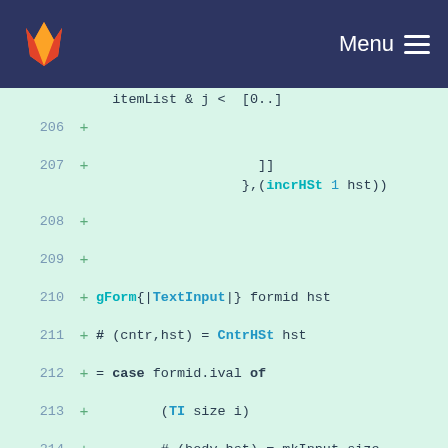GitLab — Menu
[Figure (screenshot): Code diff view showing lines 206-220 of a Haskell source file with added lines marked with + in a green diff background. Keywords like TextInput, CntrHSt, False, TI, IV, UpdI, TR, RV, UpdR, TS are highlighted in teal/blue bold.]